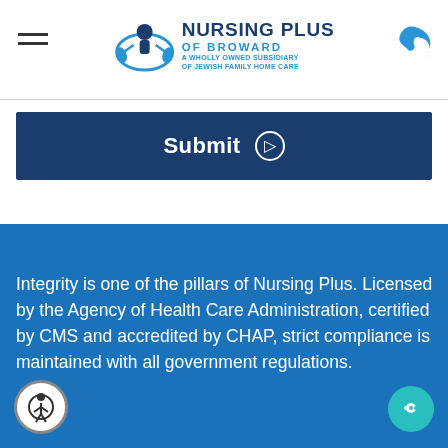Nursing Plus of Broward — A Wholly Owned Subsidiary of Jewish Family Home Care
[Figure (screenshot): Submit button bar — dark navy background with bold white 'Submit' text and a circled right-arrow icon]
Integrity is one of the pillars of Nursing Plus. Licensed by the Agency of Health Care Administration, certified by CMS and accredited by CHAP, strict compliance is maintained with all government regulations.